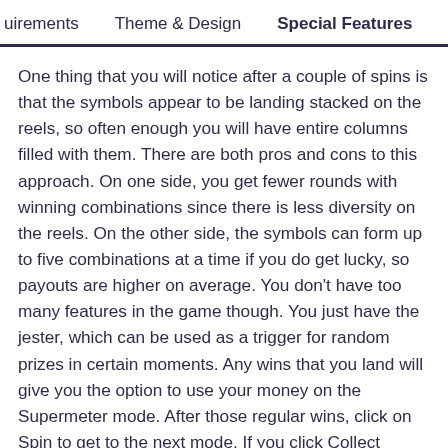uirements   Theme & Design   Special Features
One thing that you will notice after a couple of spins is that the symbols appear to be landing stacked on the reels, so often enough you will have entire columns filled with them. There are both pros and cons to this approach. On one side, you get fewer rounds with winning combinations since there is less diversity on the reels. On the other side, the symbols can form up to five combinations at a time if you do get lucky, so payouts are higher on average. You don't have too many features in the game though. You just have the jester, which can be used as a trigger for random prizes in certain moments. Any wins that you land will give you the option to use your money on the Supermeter mode. After those regular wins, click on Spin to get to the next mode. If you click Collect instead, the money will be simply placed in your account rather than used to take you to the next